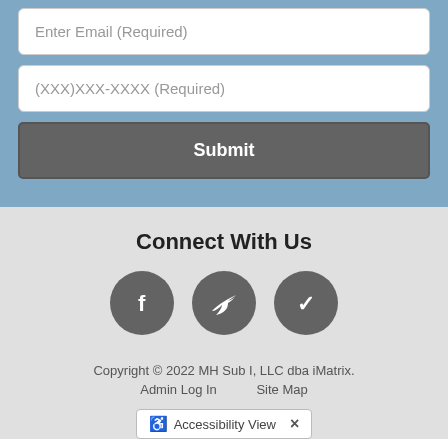Enter Email (Required)
(XXX)XXX-XXXX (Required)
Submit
Connect With Us
[Figure (illustration): Three social media icons: Facebook (f), Twitter (bird), Yelp (checkmark/star), all white on dark grey circles]
Copyright © 2022 MH Sub I, LLC dba iMatrix. Admin Log In   Site Map
Accessibility View ×